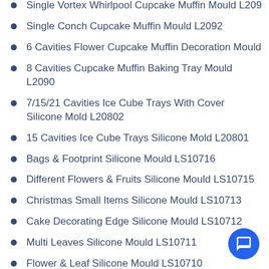Single Vortex Whirlpool Cupcake Muffin Mould L2093
Single Conch Cupcake Muffin Mould L2092
6 Cavities Flower Cupcake Muffin Decoration Mould L2091
8 Cavities Cupcake Muffin Baking Tray Mould L2090
7/15/21 Cavities Ice Cube Trays With Cover Silicone Mold L20802
15 Cavities Ice Cube Trays Silicone Mold L20801
Bags & Footprint Silicone Mould LS10716
Different Flowers & Fruits Silicone Mould LS10715
Christmas Small Items Silicone Mould LS10713
Cake Decorating Edge Silicone Mould LS10712
Multi Leaves Silicone Mould LS10711
Flower & Leaf Silicone Mould LS10710